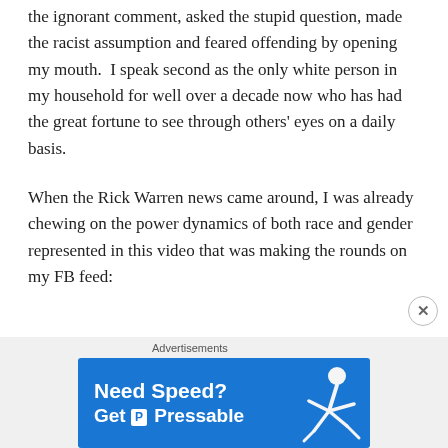the ignorant comment, asked the stupid question, made the racist assumption and feared offending by opening my mouth.  I speak second as the only white person in my household for well over a decade now who has had the great fortune to see through others' eyes on a daily basis.
When the Rick Warren news came around, I was already chewing on the power dynamics of both race and gender represented in this video that was making the rounds on my FB feed:
[Figure (screenshot): YouTube video thumbnail showing 'Passion - How Great Is Our God (...' with a channel avatar on the left showing two people, dark background with a face visible, and a three-dot menu icon on the right]
Advertisements
[Figure (screenshot): Blue advertisement banner reading 'Need Speed? Get Pressable' with a Pressable logo and a figure of a person flying/running on the right side]